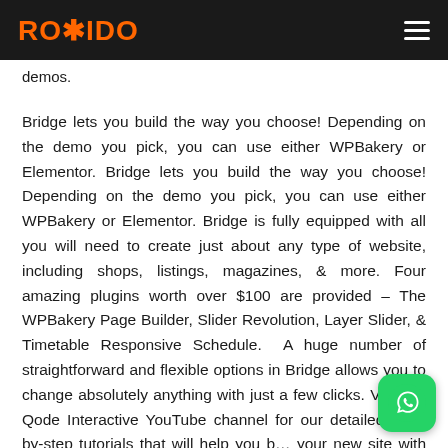ROHIDO
demos.
Bridge lets you build the way you choose! Depending on the demo you pick, you can use either WPBakery or Elementor. Bridge lets you build the way you choose! Depending on the demo you pick, you can use either WPBakery or Elementor. Bridge is fully equipped with all you will need to create just about any type of website, including shops, listings, magazines, & more. Four amazing plugins worth over $100 are provided – The WPBakery Page Builder, Slider Revolution, Layer Slider, & Timetable Responsive Schedule.  A huge number of straightforward and flexible options in Bridge allows you to change absolutely anything with just a few clicks. Visit the Qode Interactive YouTube channel for our detailed step-by-step tutorials that will help you b… your new site with Bridge.
[Figure (logo): WhatsApp icon button in bottom right corner]